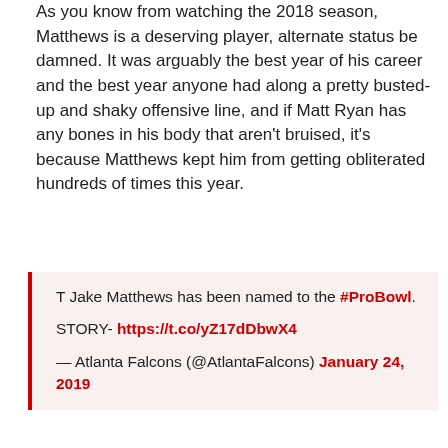As you know from watching the 2018 season, Matthews is a deserving player, alternate status be damned. It was arguably the best year of his career and the best year anyone had along a pretty busted-up and shaky offensive line, and if Matt Ryan has any bones in his body that aren't bruised, it's because Matthews kept him from getting obliterated hundreds of times this year.
T Jake Matthews has been named to the #ProBowl.

STORY- https://t.co/yZ17dDbwX4

— Atlanta Falcons (@AtlantaFalcons) January 24, 2019